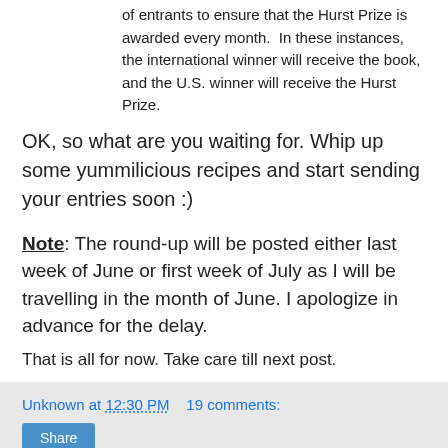of entrants to ensure that the Hurst Prize is awarded every month.  In these instances, the international winner will receive the book, and the U.S. winner will receive the Hurst Prize.
OK, so what are you waiting for. Whip up some yummilicious recipes and start sending your entries soon :)
Note: The round-up will be posted either last week of June or first week of July as I will be travelling in the month of June. I apologize in advance for the delay.
That is all for now. Take care till next post.
Unknown at 12:30 PM   19 comments:
Share
Bookmarked Recipes - Every Tuesday (Volume 83)